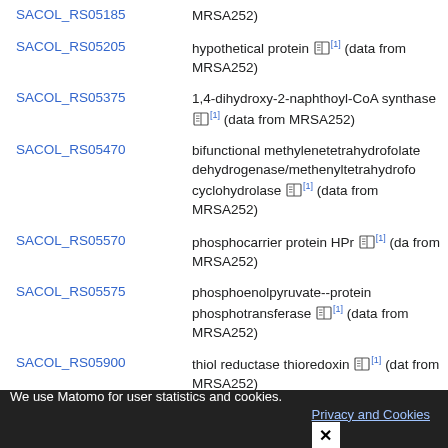| Gene ID | Description |
| --- | --- |
| SACOL_RS05185 | (data from MRSA252) |
| SACOL_RS05205 | hypothetical protein [1] (data from MRSA252) |
| SACOL_RS05375 | 1,4-dihydroxy-2-naphthoyl-CoA synthase [1] (data from MRSA252) |
| SACOL_RS05470 | bifunctional methylenetetrahydrofolate dehydrogenase/methenyltetrahydrofolate cyclohydrolase [1] (data from MRSA252) |
| SACOL_RS05570 | phosphocarrier protein HPr [1] (data from MRSA252) |
| SACOL_RS05575 | phosphoenolpyruvate--protein phosphotransferase [1] (data from MRSA252) |
| SACOL_RS05900 | thiol reductase thioredoxin [1] (data from MRSA252) |
| SACOL_RS06135 | cell division protein FtsA [1] (data from MRSA252) |
| SACOL_RS06235 | isoleucine--tRNA ligase [1] (data from MRSA252) |
We use Matomo for user statistics and cookies.
Privacy and Cookies  X